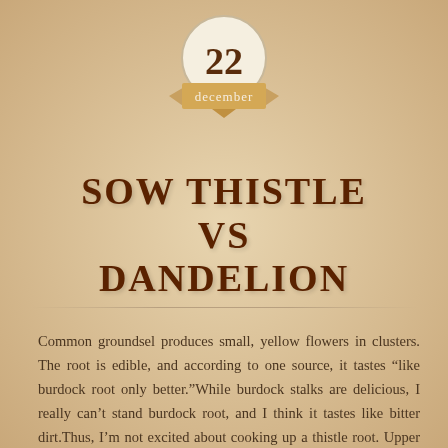[Figure (infographic): Circular badge with number 22 and ribbon banner showing 'december']
SOW THISTLE VS DANDELION
Common groundsel produces small, yellow flowers in clusters. The root is edible, and according to one source, it tastes “like burdock root only better.”While burdock stalks are delicious, I really can’t stand burdock root, and I think it tastes like bitter dirt.Thus, I’m not excited about cooking up a thistle root. Upper leaves are generally unlobed and widely spaced on the stem, though most leaves are confined to the lower half of the plant. This is a nutritious plant that contains several minerals (calcium, magnesium, iron, phosphorus, sodium, potassium and zinc) and vitamins ( A, B1, B2, B3, B6, & C). Burdock